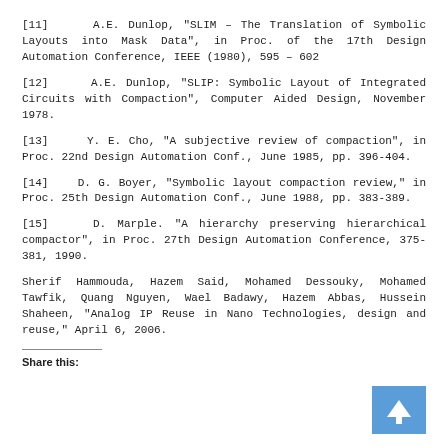[11]    A.E. Dunlop, "SLIM – The Translation of Symbolic Layouts into Mask Data", in Proc. of the 17th Design Automation Conference, IEEE (1980), 595 – 602
[12]    A.E. Dunlop, "SLIP: Symbolic Layout of Integrated Circuits with Compaction", Computer Aided Design, November 1978.
[13]    Y. E. Cho, "A subjective review of compaction", in Proc. 22nd Design Automation Conf., June 1985, pp. 396-404.
[14]    D. G. Boyer, "Symbolic layout compaction review," in Proc. 25th Design Automation Conf., June 1988, pp. 383-389.
[15]    D. Marple. "A hierarchy preserving hierarchical compactor", in Proc. 27th Design Automation Conference, 375-381, 1990.
Sherif Hammouda, Hazem Said, Mohamed Dessouky, Mohamed Tawfik, Quang Nguyen, Wael Badawy, Hazem Abbas, Hussein Shaheen, "Analog IP Reuse in Nano Technologies, design and reuse," April 6, 2006.
Share this: